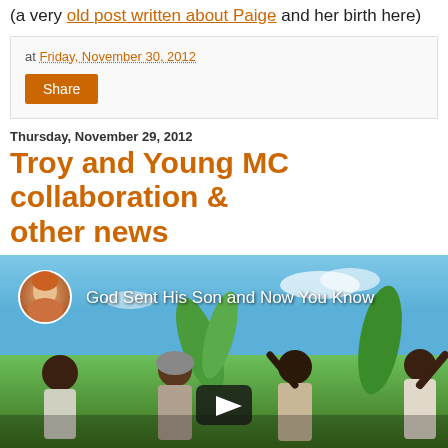(a very old post written about Paige and her birth here)
at Friday, November 30, 2012
Share
Thursday, November 29, 2012
Troy and Young MC collaboration & other news
[Figure (screenshot): YouTube video thumbnail showing people in a field with text 'God Sent His Son and Now You Know' and a play button overlay. A circular avatar of a woman appears in the top left corner.]